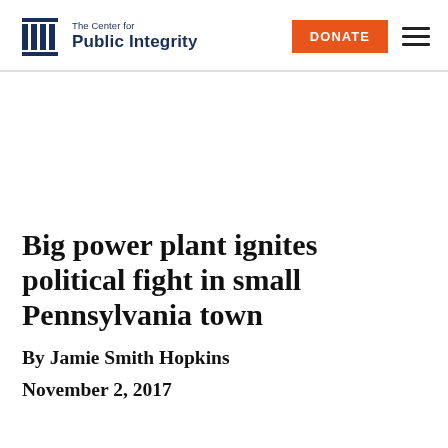The Center for Public Integrity | DONATE
Big power plant ignites political fight in small Pennsylvania town
By Jamie Smith Hopkins
November 2, 2017